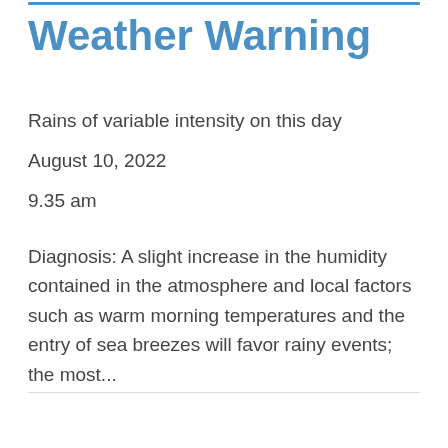Weather Warning
Rains of variable intensity on this day
August 10, 2022
9.35 am
Diagnosis: A slight increase in the humidity contained in the atmosphere and local factors such as warm morning temperatures and the entry of sea breezes will favor rainy events; the most...
See More